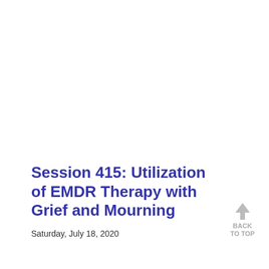Session 415: Utilization of EMDR Therapy with Grief and Mourning
Saturday, July 18, 2020